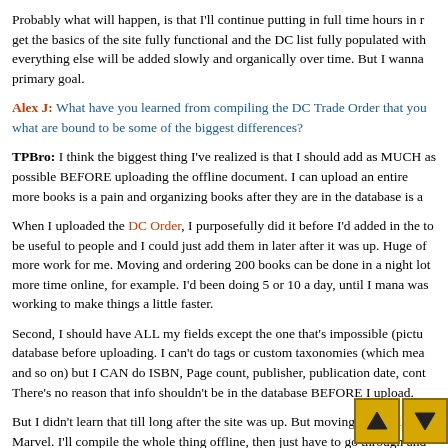Probably what will happen, is that I'll continue putting in full time hours in r get the basics of the site fully functional and the DC list fully populated with everything else will be added slowly and organically over time. But I wanna primary goal.
Alex J: What have you learned from compiling the DC Trade Order that you what are bound to be some of the biggest differences?
TPBro: I think the biggest thing I've realized is that I should add as MUCH as possible BEFORE uploading the offline document. I can upload an entire more books is a pain and organizing books after they are in the database is a
When I uploaded the DC Order, I purposefully did it before I'd added in the to be useful to people and I could just add them in later after it was up. Huge of more work for me. Moving and ordering 200 books can be done in a night lot more time online, for example. I'd been doing 5 or 10 a day, until I mana was working to make things a little faster.
Second, I should have ALL my fields except the one that's impossible (pictu database before uploading. I can't do tags or custom taxonomies (which mea and so on) but I CAN do ISBN, Page count, publisher, publication date, cont There's no reason that info shouldn't be in the database BEFORE I upload.
But I didn't learn that till long after the site was up. But moving forward, it's Marvel. I'll compile the whole thing offline, then just have to go through and custom taxonomies, plus add pictures.
There shouldn't be too many differences. There probably won order, no pre-crisis, no post-crisis. There will probably just b